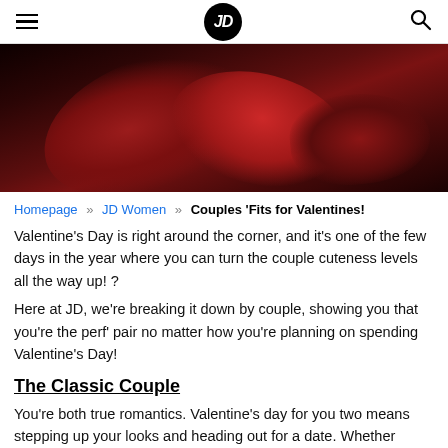JD Sports navigation header with hamburger menu, JD logo, and search icon
[Figure (photo): Dark red/black moody hero image, appears to show roses or red fabric in low light]
Homepage » JD Women » Couples 'Fits for Valentines!
Valentine's Day is right around the corner, and it's one of the few days in the year where you can turn the couple cuteness levels all the way up! ?
Here at JD, we're breaking it down by couple, showing you that you're the perf' pair no matter how you're planning on spending Valentine's Day!
The Classic Couple
You're both true romantics. Valentine's day for you two means stepping up your looks and heading out for a date. Whether you're dining out and bringing it...